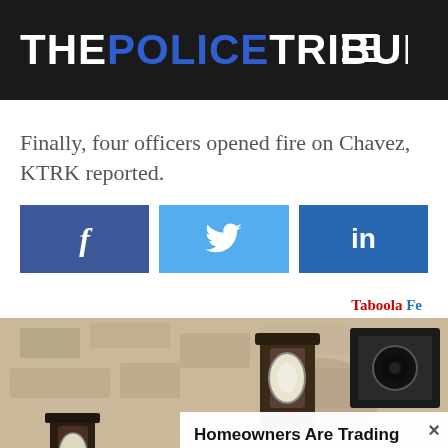THE POLICE TRIBUNE
Finally, four officers opened fire on Chavez, KTRK reported.
[Figure (infographic): Social sharing buttons: Facebook (f), Twitter (bird icon), LinkedIn (in)]
Taboola Fe
[Figure (photo): Outdoor wall-mounted security camera / light fixture on stucco wall]
Homeowners Are Trading In Their Doorbell Cams For This
Camerca | Sponsored